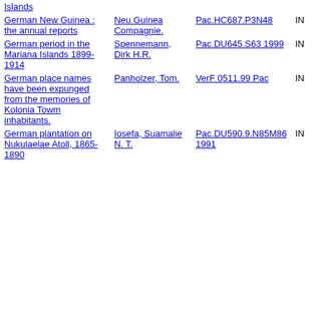| Title | Author | Call Number | Status |
| --- | --- | --- | --- |
| Islands |  |  |  |
| German New Guinea : the annual reports | Neu Guinea Compagnie. | Pac.HC687.P3N48 | IN |
| German period in the Mariana Islands 1899-1914 | Spennemann, Dirk H.R. | Pac.DU645.S63 1999 | IN |
| German place names have been expunged from the memories of Kolonia Towm inhabitants. | Panholzer, Tom. | VerF 0511.99 Pac | IN |
| German plantation on Nukulaelae Atoll, 1865-1890 | Iosefa, Suamalie N. T. | Pac.DU590.9.N85M86 1991 | IN |